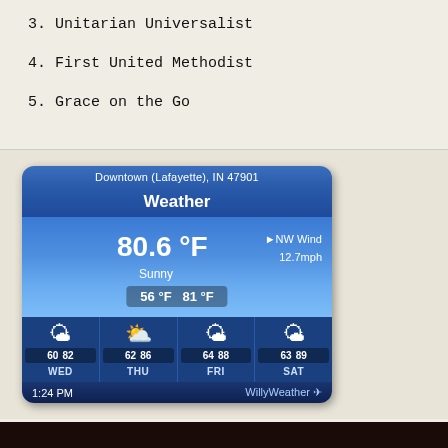3. Unitarian Universalist
4. First United Methodist
5. Grace on the Go
[Figure (screenshot): WillyWeather widget showing weather for Downtown (Lafayette), IN 47901. Current temperature 80.6 °F, Sunny, NW Wind 12.7mph. Min 56 °F, Max 81 °F. Forecast: WED 60/82, THU 62/86, FRI 64/88, SAT 63/89. Time shown: 1:24 PM.]